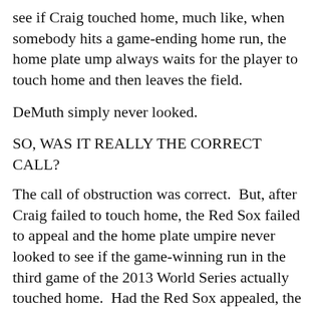see if Craig touched home, much like, when somebody hits a game-ending home run, the home plate ump always waits for the player to touch home and then leaves the field.
DeMuth simply never looked.
SO, WAS IT REALLY THE CORRECT CALL?
The call of obstruction was correct.  But, after Craig failed to touch home, the Red Sox failed to appeal and the home plate umpire never looked to see if the game-winning run in the third game of the 2013 World Series actually touched home.  Had the Red Sox appealed, the home plate umpire would have either called Craig safe or asked for help (and remember, the main reason Craig missed home was because he was trying to avoid the catcher's tag).  And, unlike the call last week when DeMuth was looking down at players' feet at that force at second when Pete Kozma did not catch the force throw and five umpires overruled him, on this play at home, no umpire (other than